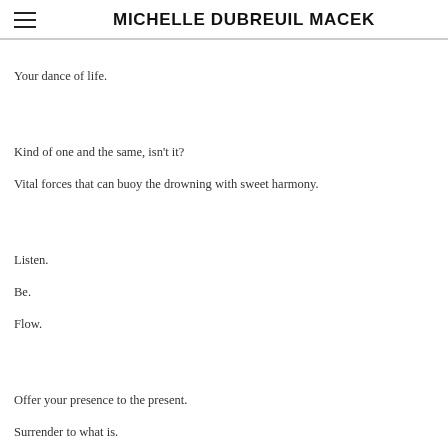MICHELLE DUBREUIL MACEK
Your dance of life.
Kind of one and the same, isn't it?
Vital forces that can buoy the drowning with sweet harmony.
Listen.
Be.
Flow.
Offer your presence to the present.
Surrender to what is.
Know that the Sacred accompanies you in life, is all around you, within you,